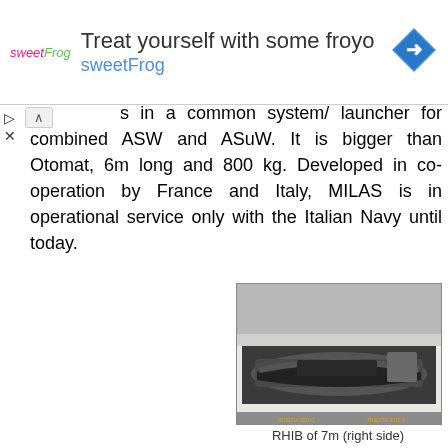[Figure (screenshot): Advertisement banner for sweetFrog frozen yogurt with logo, text 'Treat yourself with some froyo sweetFrog', and a blue navigation arrow icon]
s in a common system/ launcher for combined ASW and ASuW. It is bigger than Otomat, 6m long and 800 kg. Developed in co-operation by France and Italy, MILAS is in operational service only with the Italian Navy until today.
[Figure (photo): Photo of a RHIB (Rigid Hull Inflatable Boat) of 7m shown from the right side, stored in a boat bay or davit system on a naval vessel]
RHIB of 7m (right side)